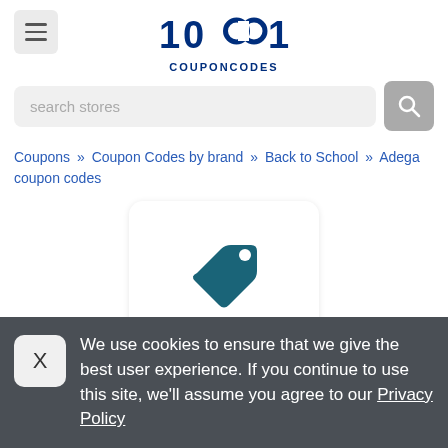[Figure (logo): 1001 COUPONCODES logo with hamburger menu icon]
[Figure (screenshot): Search bar with 'search stores' placeholder and search button]
Coupons » Coupon Codes by brand » Back to School » Adega coupon codes
[Figure (illustration): Price tag / coupon icon in teal color inside a white rounded card]
We use cookies to ensure that we give the best user experience. If you continue to use this site, we'll assume you agree to our Privacy Policy